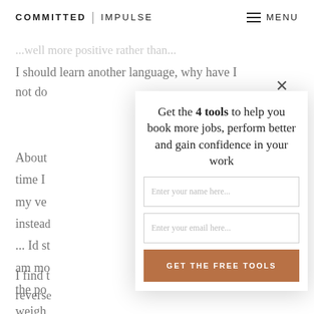COMMITTED | IMPULSE   ≡ MENU
...well more positive rather than...
I should learn another language, why have I not do
About time I my ve instead ... Id st am mo the po weigh
[Figure (screenshot): Modal popup overlay with headline 'Get the 4 tools to help you book more jobs, perform better and gain confidence in your work', two input fields for name and email, and a button 'GET THE FREE TOOLS']
I find t revers